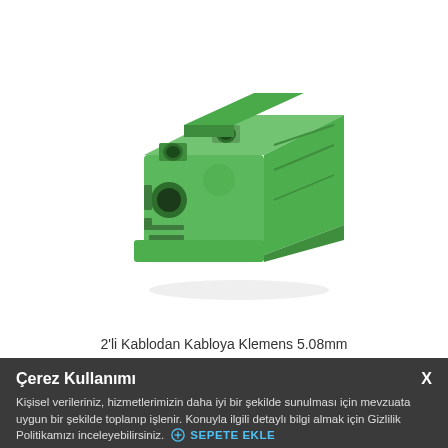[Figure (photo): A green 2-pin cable-to-cable terminal block connector (Klemens) 5.08mm pitch, photographed at an angle on a white background. The green plastic housing has two circular wire entry ports and screw terminals visible.]
2'li Kablodan Kabloya Klemens 5.08mm
Çerez Kullanımı
Kişisel verileriniz, hizmetlerimizin daha iyi bir şekilde sunulması için mevzuata uygun bir şekilde toplanıp işlenir. Konuyla ilgili detaylı bilgi almak için Gizlilik Politikamızı inceleyebilirsiniz. ⊕ SEPETE EKLE